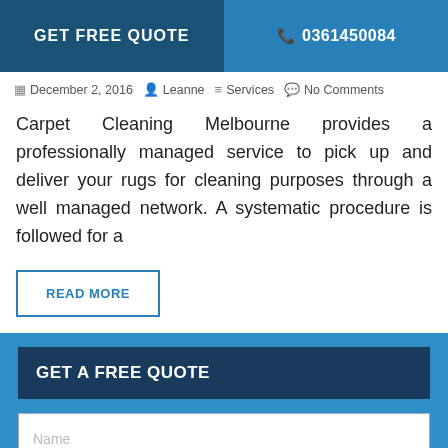GET FREE QUOTE   📞 0361450084
December 2, 2016   Leanne   Services   No Comments
Carpet Cleaning Melbourne provides a professionally managed service to pick up and deliver your rugs for cleaning purposes through a well managed network. A systematic procedure is followed for a
READ MORE
GET A FREE QUOTE
Name